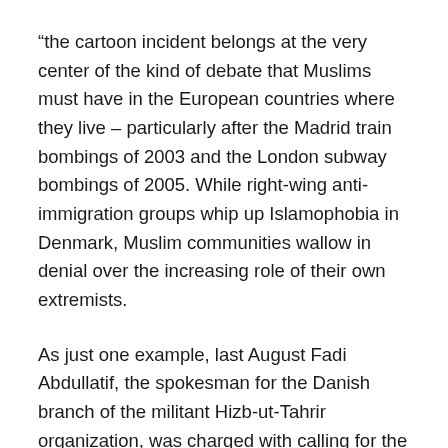“the cartoon incident belongs at the very center of the kind of debate that Muslims must have in the European countries where they live – particularly after the Madrid train bombings of 2003 and the London subway bombings of 2005. While right-wing anti-immigration groups whip up Islamophobia in Denmark, Muslim communities wallow in denial over the increasing role of their own extremists.
As just one example, last August Fadi Abdullatif, the spokesman for the Danish branch of the militant Hizb-ut-Tahrir organization, was charged with calling for the killing of members of the Danish government. He distributed leaflets calling on Muslims in Denmark to go to Fallujah in Iraq and fight the Americans, and to kill their own leaders if they obstructed them. […]